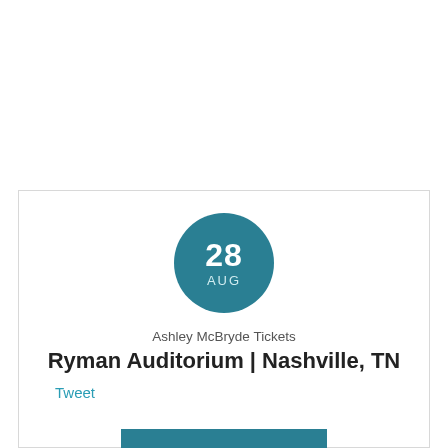[Figure (other): Teal circle with date: 28 AUG]
Ashley McBryde Tickets
Ryman Auditorium | Nashville, TN
Tweet
GET TICKETS